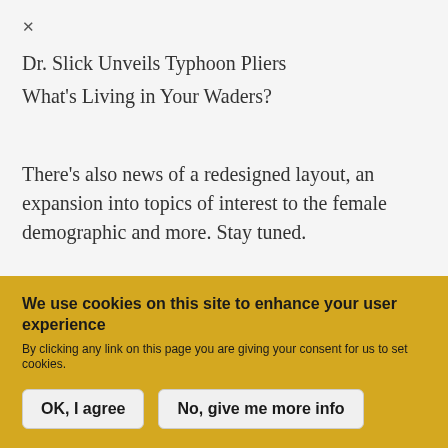×
Dr. Slick Unveils Typhoon Pliers
What's Living in Your Waders?
There's also news of a redesigned layout, an expansion into topics of interest to the female demographic and more. Stay tuned.
We use cookies on this site to enhance your user experience
By clicking any link on this page you are giving your consent for us to set cookies.
OK, I agree
No, give me more info